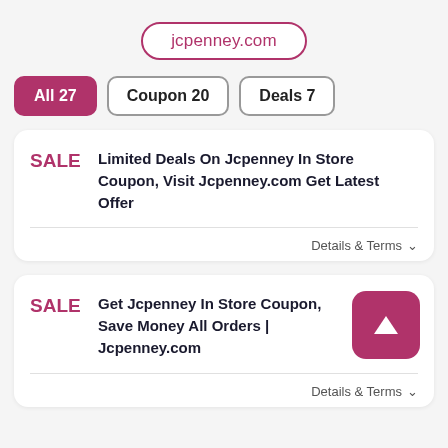jcpenney.com
All 27
Coupon 20
Deals 7
SALE — Limited Deals On Jcpenney In Store Coupon, Visit Jcpenney.com Get Latest Offer
Details & Terms
SALE — Get Jcpenney In Store Coupon, Save Money All Orders | Jcpenney.com
Details & Terms